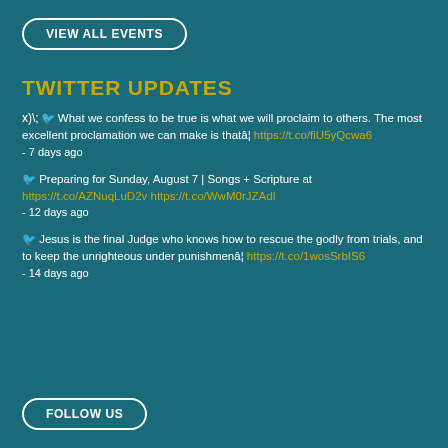VIEW ALL EVENTS
TWITTER UPDATES
What we confess to be true is what we will proclaim to others. The most excellent proclamation we can make is thatâ¦ https://t.co/fiU5yQcwa6
- 7 days ago
Preparing for Sunday, August 7 | Songs + Scripture at https://t.co/AZNuqLuD2v https://t.co/WwM0rJZAdI
- 12 days ago
Jesus is the final Judge who knows how to rescue the godly from trials, and to keep the unrighteous under punishmenâ¦ https://t.co/1wosSrbIS6
- 14 days ago
FOLLOW US